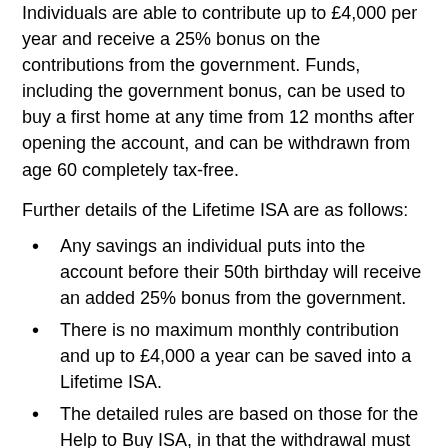A Lifetime ISA is available for adults under the age of 40. Individuals are able to contribute up to £4,000 per year and receive a 25% bonus on the contributions from the government. Funds, including the government bonus, can be used to buy a first home at any time from 12 months after opening the account, and can be withdrawn from age 60 completely tax-free.
Further details of the Lifetime ISA are as follows:
Any savings an individual puts into the account before their 50th birthday will receive an added 25% bonus from the government.
There is no maximum monthly contribution and up to £4,000 a year can be saved into a Lifetime ISA.
The detailed rules are based on those for the Help to Buy ISA, in that the withdrawal must be for the purchase of a property for the first-time buyer to live in as their only residence and not buy-to-let. There are differences, however. In particular, the bonuses within the Lifetime ISA can be used to fund the initial deposit at the time of completion.